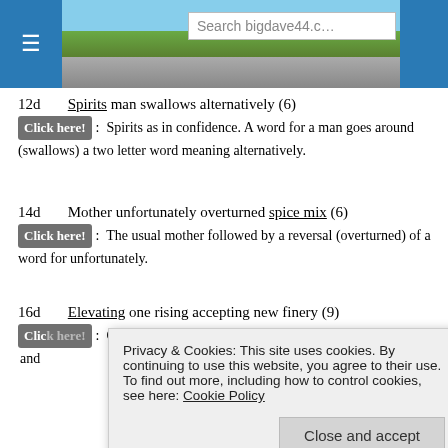Search bigdave44.c
12d   Spirits man swallows alternatively (6)
Click here!:  Spirits as in confidence. A word for a man goes around (swallows) a two letter word meaning alternatively.
14d   Mother unfortunately overturned spice mix (6)
Click here!:  The usual mother followed by a reversal (overturned) of a word for unfortunately.
16d   Elevating one rising accepting new finery (9)
Click here!:  ONE (from the clue) is reversed (rising in a down clue) and ... some finery
Privacy & Cookies: This site uses cookies. By continuing to use this website, you agree to their use.
To find out more, including how to control cookies, see here: Cookie Policy
Close and accept